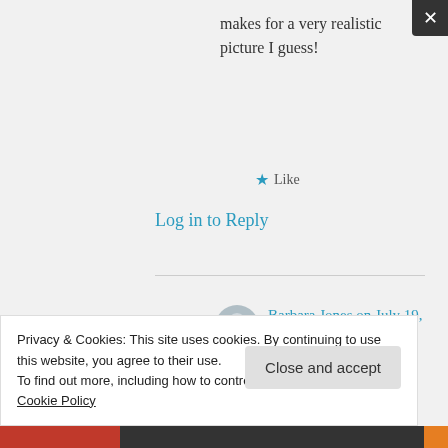makes for a very realistic picture I guess!
★ Like
Log in to Reply
Barbara Jones on July 19, 2015 at 4:51 am
Oh – that is really interesting (sorry!
Privacy & Cookies: This site uses cookies. By continuing to use this website, you agree to their use.
To find out more, including how to control cookies, see here: Cookie Policy
Close and accept